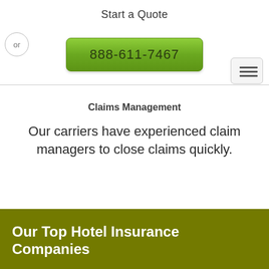Start a Quote
or
888-611-7467
[Figure (screenshot): Hamburger menu button with three horizontal lines, bordered rounded rectangle]
Claims Management
Our carriers have experienced claim managers to close claims quickly.
Our Top Hotel Insurance Companies